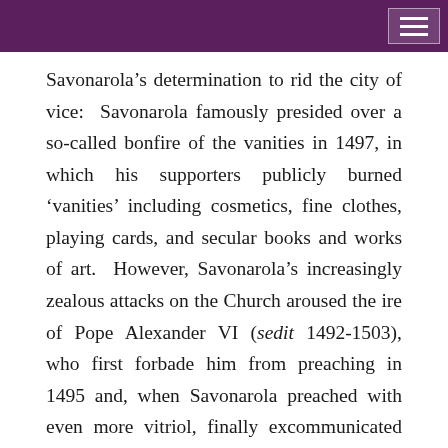Savonarola's determination to rid the city of vice: Savonarola famously presided over a so-called bonfire of the vanities in 1497, in which his supporters publicly burned 'vanities' including cosmetics, fine clothes, playing cards, and secular books and works of art. However, Savonarola's increasingly zealous attacks on the Church aroused the ire of Pope Alexander VI (sedit 1492-1503), who first forbade him from preaching in 1495 and, when Savonarola preached with even more vitriol, finally excommunicated him in 1497. In 1498, when an ordeal by fire, proposed by Savonarola's supporters to vindicate his cause, failed to take place, public opinion turned violently